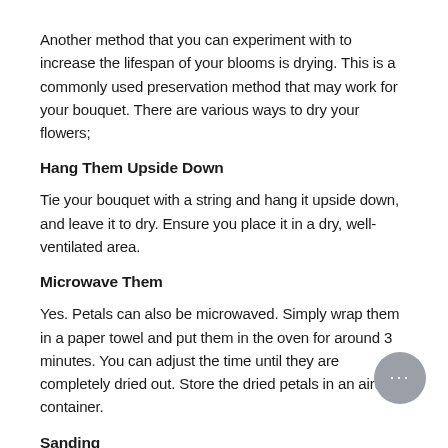Another method that you can experiment with to increase the lifespan of your blooms is drying. This is a commonly used preservation method that may work for your bouquet. There are various ways to dry your flowers;
Hang Them Upside Down
Tie your bouquet with a string and hang it upside down, and leave it to dry. Ensure you place it in a dry, well-ventilated area.
Microwave Them
Yes. Petals can also be microwaved. Simply wrap them in a paper towel and put them in the oven for around 3 minutes. You can adjust the time until they are completely dried out. Store the dried petals in an airtight container.
Sanding
Collect sand at the beach and bury your petals in it until they